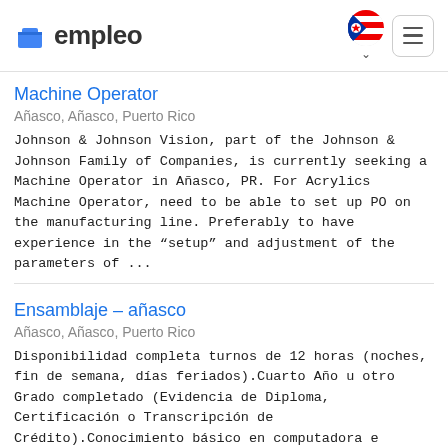empleo
Machine Operator
Añasco, Añasco, Puerto Rico
Johnson & Johnson Vision, part of the Johnson & Johnson Family of Companies, is currently seeking a Machine Operator in Añasco, PR. For Acrylics Machine Operator, need to be able to set up PO on the manufacturing line. Preferably to have experience in the "setup" and adjustment of the parameters of ...
Ensamblaje – añasco
Añasco, Añasco, Puerto Rico
Disponibilidad completa turnos de 12 horas (noches, fin de semana, días feriados).Cuarto Año u otro Grado completado (Evidencia de Diploma, Certificación o Transcripción de Crédito).Conocimiento básico en computadora e idioma inglés.You're looking to keep your career moving onward and upward, and we...